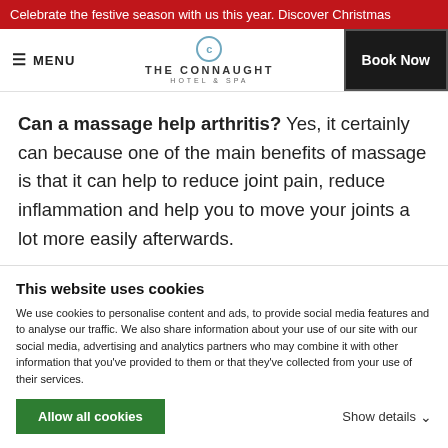Celebrate the festive season with us this year. Discover Christmas
MENU | THE CONNAUGHT HOTEL & SPA | Book Now
Can a massage help arthritis? Yes, it certainly can because one of the main benefits of massage is that it can help to reduce joint pain, reduce inflammation and help you to move your joints a lot more easily afterwards.
This website uses cookies
We use cookies to personalise content and ads, to provide social media features and to analyse our traffic. We also share information about your use of our site with our social media, advertising and analytics partners who may combine it with other information that you've provided to them or that they've collected from your use of their services.
Allow all cookies | Show details